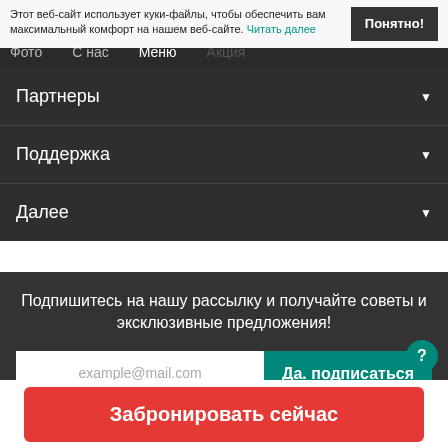Этот веб-сайт использует куки-файлы, чтобы обеспечить вам максимальный комфорт на нашем веб-сайте. Читать далее  Понятно!
Партнеры
Поддержка
Далее
Подпишитесь на нашу рассылку и получайте советы и эксклюзивные предложения!
example@mail.com
Да. подписаться
Все письма содержат ссылку для отмены подписки. Вы можете отказаться в любой момент. Смотрите нашу Политику конфиденциальности.
Забронировать сейчас